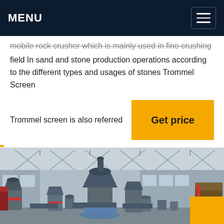MENU
mobile rock crusher which is mainly used in fine crushing field In sand and stone production operations according to the different types and usages of stones Trommel Screen
Trommel screen is also referred
Get price
[Figure (photo): Industrial factory floor with large grey milling and crushing equipment including cone crushers, cylindrical tanks and industrial machinery inside a large warehouse with steel truss roof structure. A yellow square accent is in the bottom right corner.]